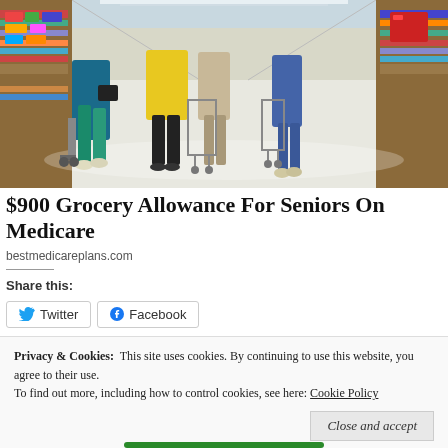[Figure (photo): Elderly shoppers walking through a grocery store aisle with shopping carts, viewed from behind. Store shelves visible on the left and right sides.]
$900 Grocery Allowance For Seniors On Medicare
bestmedicareplans.com
Share this:
Twitter   Facebook
Privacy & Cookies:  This site uses cookies. By continuing to use this website, you agree to their use.
To find out more, including how to control cookies, see here: Cookie Policy
Close and accept